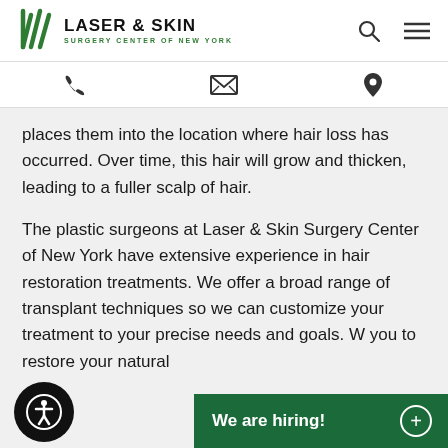[Figure (logo): Laser & Skin Surgery Center of New York logo with green striped icon and text]
[Figure (infographic): Navigation icons: phone, envelope/mail, map pin location marker]
places them into the location where hair loss has occurred. Over time, this hair will grow and thicken, leading to a fuller scalp of hair.
The plastic surgeons at Laser & Skin Surgery Center of New York have extensive experience in hair restoration treatments. We offer a broad range of transplant techniques so we can customize your treatment to your precise needs and goals. W you to restore your natural
[Figure (infographic): We are hiring! green banner with plus circle button, and accessibility icon button]
[Figure (infographic): Accessibility icon (person in circle) in black circle button, bottom left]